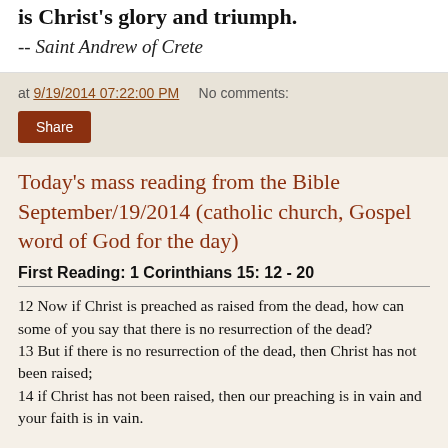is Christ's glory and triumph.
-- Saint Andrew of Crete
at 9/19/2014 07:22:00 PM   No comments:
Share
Today's mass reading from the Bible September/19/2014 (catholic church, Gospel word of God for the day)
First Reading: 1 Corinthians 15: 12 - 20
12 Now if Christ is preached as raised from the dead, how can some of you say that there is no resurrection of the dead?
13 But if there is no resurrection of the dead, then Christ has not been raised;
14 if Christ has not been raised, then our preaching is in vain and your faith is in vain.